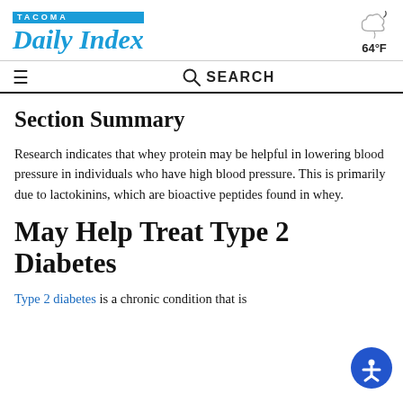TACOMA Daily Index — 64°F
Section Summary
Research indicates that whey protein may be helpful in lowering blood pressure in individuals who have high blood pressure. This is primarily due to lactokinins, which are bioactive peptides found in whey.
May Help Treat Type 2 Diabetes
Type 2 diabetes is a chronic condition that is